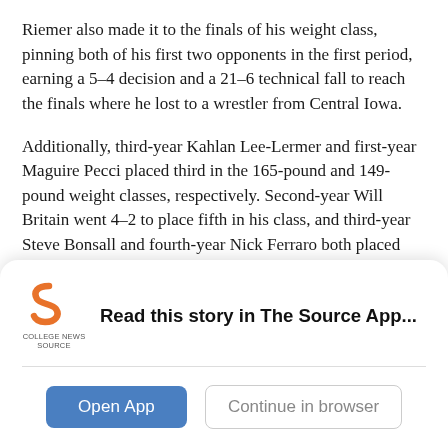Riemer also made it to the finals of his weight class, pinning both of his first two opponents in the first period, earning a 5–4 decision and a 21–6 technical fall to reach the finals where he lost to a wrestler from Central Iowa.
Additionally, third-year Kahlan Lee-Lermer and first-year Maguire Pecci placed third in the 165-pound and 149-pound weight classes, respectively. Second-year Will Britain went 4–2 to place fifth in his class, and third-year Steve Bonsall and fourth-year Nick Ferraro both placed sixth in their respective classes.
This Saturday the Maroons continue to...
[Figure (logo): College News Source logo — stylized orange 'S' shape with 'COLLEGE NEWS SOURCE' text below]
Read this story in The Source App...
Open App | Continue in browser